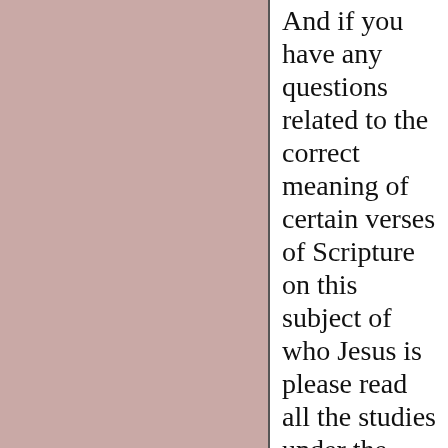And if you have any questions related to the correct meaning of certain verses of Scripture on this subject of who Jesus is please read all the studies under the